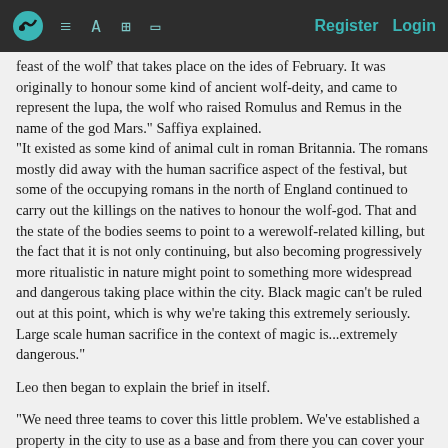Register  Login
feast of the wolf' that takes place on the ides of February. It was originally to honour some kind of ancient wolf-deity, and came to represent the lupa, the wolf who raised Romulus and Remus in the name of the god Mars." Saffiya explained.
"It existed as some kind of animal cult in roman Britannia. The romans mostly did away with the human sacrifice aspect of the festival, but some of the occupying romans in the north of England continued to carry out the killings on the natives to honour the wolf-god. That and the state of the bodies seems to point to a werewolf-related killing, but the fact that it is not only continuing, but also becoming progressively more ritualistic in nature might point to something more widespread and dangerous taking place within the city. Black magic can't be ruled out at this point, which is why we're taking this extremely seriously. Large scale human sacrifice in the context of magic is...extremely dangerous."
Leo then began to explain the brief in itself.
"We need three teams to cover this little problem. We've established a property in the city to use as a base and from there you can cover your responsibilities. First, Oren, you will be visiting the local morgue where the bodies have been sent